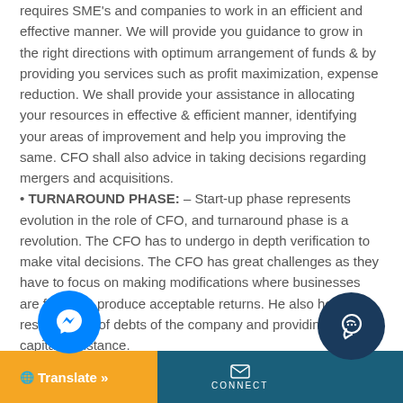requires SME's and companies to work in an efficient and effective manner. We will provide you guidance to grow in the right directions with optimum arrangement of funds & by providing you services such as profit maximization, expense reduction. We shall provide your assistance in allocating your resources in effective & efficient manner, identifying your areas of improvement and help you improving the same. CFO shall also advice in taking decisions regarding mergers and acquisitions.
• TURNAROUND PHASE: – Start-up phase represents evolution in the role of CFO, and turnaround phase is a revolution. The CFO has to undergo in depth verification to make vital decisions. The CFO has great challenges as they have to focus on making modifications where businesses are failing to produce acceptable returns. He also helps in restructuring of debts of the company and providing working capital assistance.
Translate » | CONNECT